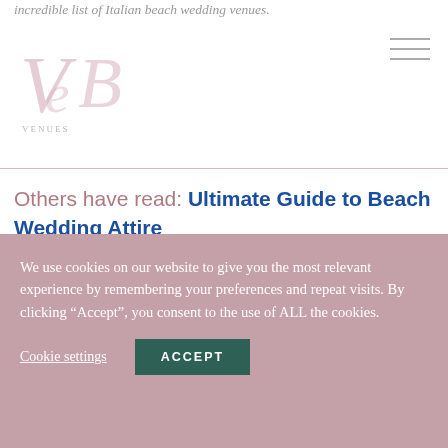incredible list of Italian beach wedding venues.
[Figure (logo): VEB script logo in light pink/mauve]
Others have read: Ultimate Guide to Beach Wedding Attire
We use cookies on our website to give you the most relevant experience by remembering your preferences and repeat visits. By clicking “Accept”, you consent to the use of ALL the cookies.
Cookie settings
ACCEPT